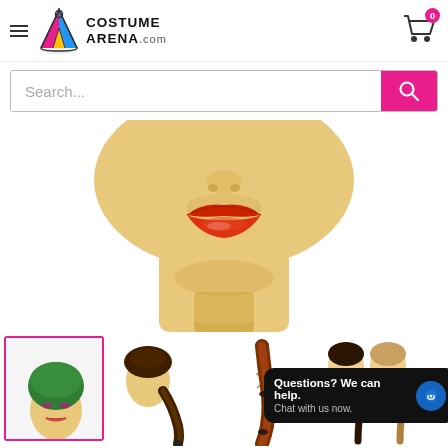[Figure (logo): Costume Arena .com logo with colorful tent icon]
[Figure (screenshot): Search bar with magenta search button]
[Figure (photo): Close-up of mannequin face with red lips, showing lower face and neck from nose down — product display for a wig]
[Figure (photo): Four wig thumbnail images: green short wig on mannequin (selected, magenta border), dark brown braided wig, auburn braided wig, dark and light braided wigs side by side]
Questions? We can help. Chat with us now.